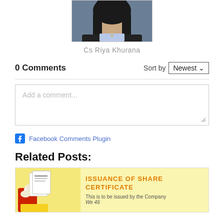[Figure (photo): Profile photo of a person with dark hair wearing a dark jacket, cropped from the shoulders up.]
Cs Riya Khurana
0 Comments
Sort by Newest
Add a comment...
Facebook Comments Plugin
Related Posts:
[Figure (illustration): A card showing 'ISSUANCE OF SHARE CERTIFICATE' with an illustration of a hand holding documents, on a yellow background.]